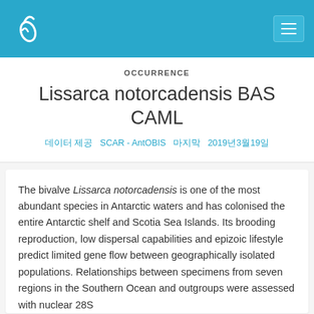OCCURRENCE
Lissarca notorcadensis BAS CAML
데이터 제공 SCAR - AntOBIS 마지막 2019년3월19일
The bivalve Lissarca notorcadensis is one of the most abundant species in Antarctic waters and has colonised the entire Antarctic shelf and Scotia Sea Islands. Its brooding reproduction, low dispersal capabilities and epizoic lifestyle predict limited gene flow between geographically isolated populations. Relationships between specimens from seven regions in the Southern Ocean and outgroups were assessed with nuclear 28S